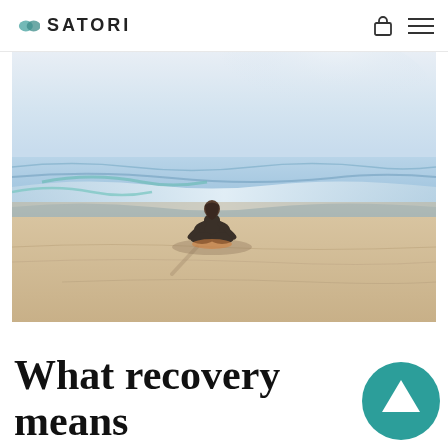SATORI
[Figure (photo): A person sitting in a meditation/lotus pose on a sandy beach facing the ocean waves, photographed from behind. The sky is bright and hazy, ocean waves are visible in the background.]
What recovery means to...